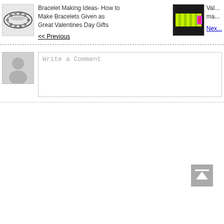[Figure (photo): Thumbnail of a beaded bracelet (left navigation)]
Bracelet Making Ideas- How to Make Bracelets Given as Great Valentines Day Gifts
<< Previous
[Figure (photo): Thumbnail of a colorful paracord bracelet (right navigation)]
Val... ma...
Nex...
[Figure (illustration): Default user avatar (gray silhouette)]
Write a Comment
[Figure (illustration): Scroll to top button with upward arrow]